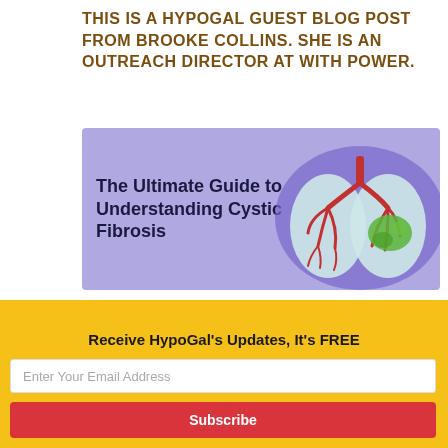THIS IS A HYPOGAL GUEST BLOG POST FROM BROOKE COLLINS. SHE IS AN OUTREACH DIRECTOR AT WITH POWER.
[Figure (illustration): Banner image with lavender background showing lung illustration with red bronchial tree and green area in right lung. Text reads 'The Ultimate Guide to Understanding Cystic Fibrosis'.]
Receive HypoGal's Updates, It's FREE
Enter Your Email Address
Subscribe